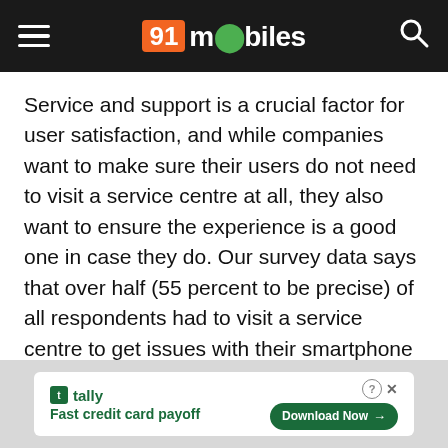91mobiles
Service and support is a crucial factor for user satisfaction, and while companies want to make sure their users do not need to visit a service centre at all, they also want to ensure the experience is a good one in case they do. Our survey data says that over half (55 percent to be precise) of all respondents had to visit a service centre to get issues with their smartphone fixed. While this is certainly a high percentage, one can possible take solace in the fact that most of the respondents who did end up going to a service centre reported their experience as “good” or “very good”.
[Figure (other): Tally app advertisement banner: Fast credit card payoff, with Download Now button]